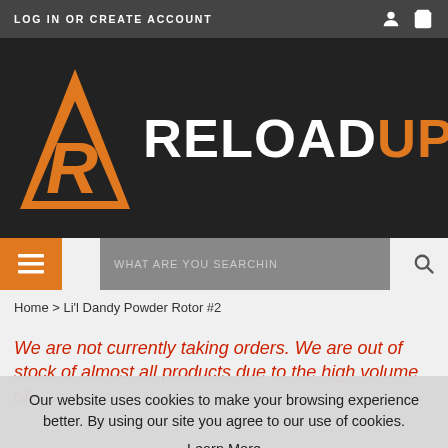LOG IN OR CREATE ACCOUNT
[Figure (logo): ReloadUp logo with orange triangle/letter-R icon and white/orange RELOADUP wordmark on dark background]
[Figure (other): Navigation bar with orange hamburger menu button, gray search input box labeled WHAT ARE YOU SEARCHING, and search icon]
Home > Li'l Dandy Powder Rotor #2
We are not currently taking orders. We are out of stock of almost all products due to the high volume of
Our website uses cookies to make your browsing experience better. By using our site you agree to our use of cookies. Learn More
I Agree